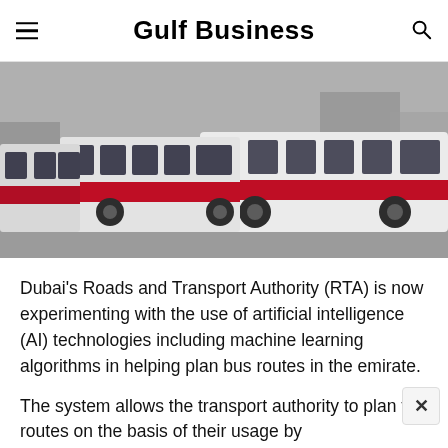Gulf Business
[Figure (photo): A row of red and white Dubai RTA buses lined up at a depot or station, photographed from a low angle showing the front and side of the buses.]
Dubai's Roads and Transport Authority (RTA) is now experimenting with the use of artificial intelligence (AI) technologies including machine learning algorithms in helping plan bus routes in the emirate.
The system allows the transport authority to plan the routes on the basis of their usage by